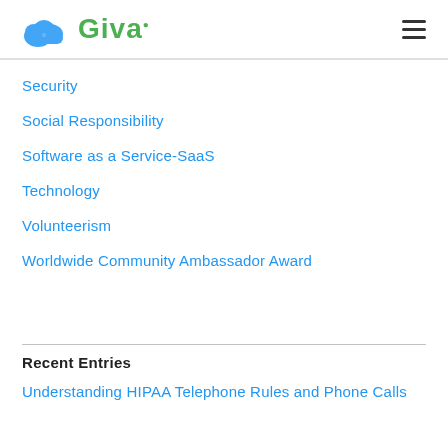[Figure (logo): Giva logo with blue cloud icon and green Giva text]
Security
Social Responsibility
Software as a Service-SaaS
Technology
Volunteerism
Worldwide Community Ambassador Award
Recent Entries
Understanding HIPAA Telephone Rules and Phone Calls